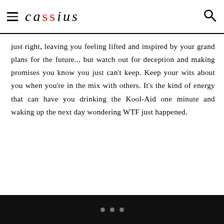cassius
just right, leaving you feeling lifted and inspired by your grand plans for the future... but watch out for deception and making promises you know you just can't keep. Keep your wits about you when you're in the mix with others. It's the kind of energy that can have you drinking the Kool-Aid one minute and waking up the next day wondering WTF just happened.
• • •